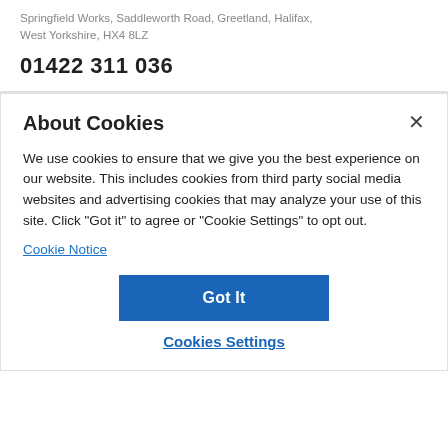Springfield Works, Saddleworth Road, Greetland, Halifax, West Yorkshire, HX4 8LZ
01422 311 036
About Cookies
We use cookies to ensure that we give you the best experience on our website. This includes cookies from third party social media websites and advertising cookies that may analyze your use of this site. Click "Got it" to agree or "Cookie Settings" to opt out.
Cookie Notice
Got It
Cookies Settings